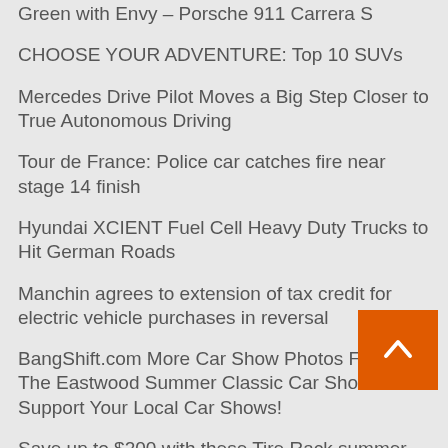Green with Envy – Porsche 911 Carrera S
CHOOSE YOUR ADVENTURE: Top 10 SUVs
Mercedes Drive Pilot Moves a Big Step Closer to True Autonomous Driving
Tour de France: Police car catches fire near stage 14 finish
Hyundai XCIENT Fuel Cell Heavy Duty Trucks to Hit German Roads
Manchin agrees to extension of tax credit for electric vehicle purchases in reversal
BangShift.com More Car Show Photos From The Eastwood Summer Classic Car Show. Support Your Local Car Shows!
Save up to $200 with these Tire Rack summer deals